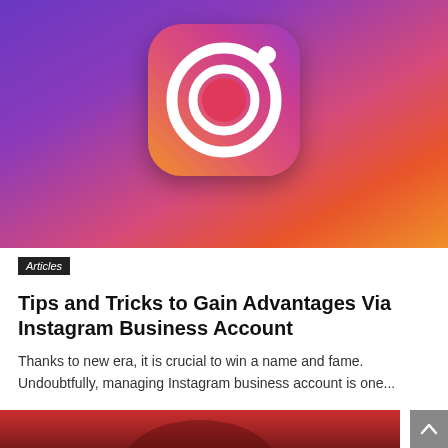[Figure (illustration): Instagram app icon on a gradient background transitioning from purple/blue at top to orange/red/pink at bottom. The icon shows a rounded square with a white camera outline, white circle lens, and pink/red inner circle, with a white dot in the upper right.]
Articles
Tips and Tricks to Gain Advantages Via Instagram Business Account
Thanks to new era, it is crucial to win a name and fame. Undoubtfully, managing Instagram business account is one...
[Figure (photo): Partial view of a person against a red background, cropped at bottom of page.]